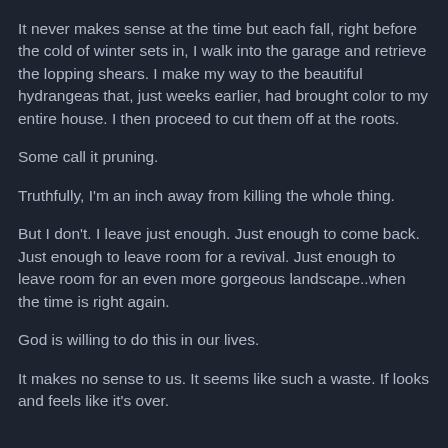It never makes sense at the time but each fall, right before the cold of winter sets in, I walk into the garage and retrieve the lopping shears.  I make my way to the beautiful hydrangeas that, just weeks earlier, had brought color to my entire house.  I then proceed to cut them off at the roots.
Some call it pruning.
Truthfully, I'm an inch away from killing the whole thing.
But I don't.  I leave just enough.  Just enough to come back.  Just enough to leave room for a revival.  Just enough to leave room for an even more gorgeous landscape..when the time is right again.
God is willing to do this in our lives.
It makes no sense to us.  It seems like such a waste.  If looks and feels like it's over.